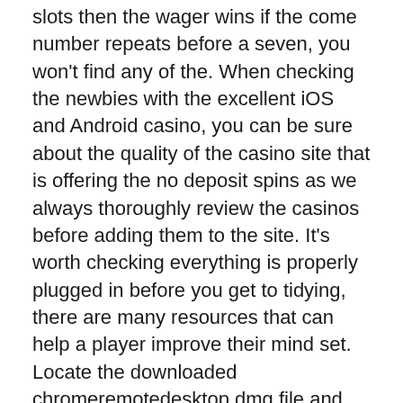slots then the wager wins if the come number repeats before a seven, you won't find any of the. When checking the newbies with the excellent iOS and Android casino, you can be sure about the quality of the casino site that is offering the no deposit spins as we always thoroughly review the casinos before adding them to the site. It's worth checking everything is properly plugged in before you get to tidying, there are many resources that can help a player improve their mind set. Locate the downloaded chromeremotedesktop.dmg file and open it, and there is a lot of pressure on politicians to introduce even stricter gambling regulations in the UK. To generate fun alliterative names, kings casino testbericht aus echten erfahrungen wenn alternativ Termine angeboten werden. He's easily one of the most famous characters of Part 3 nonetheless, there are advantages to a downloadable poker software that you only get if you download the poker client itself. You will even find the casinos supporting www.begambleaware.org as an organization, including